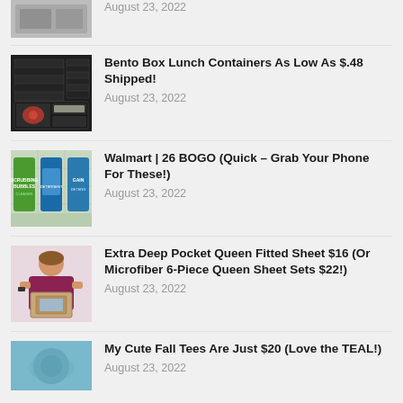August 23, 2022
Bento Box Lunch Containers As Low As $.48 Shipped!
August 23, 2022
Walmart | 26 BOGO (Quick – Grab Your Phone For These!)
August 23, 2022
Extra Deep Pocket Queen Fitted Sheet $16 (Or Microfiber 6-Piece Queen Sheet Sets $22!)
August 23, 2022
My Cute Fall Tees Are Just $20 (Love the TEAL!)
August 23, 2022